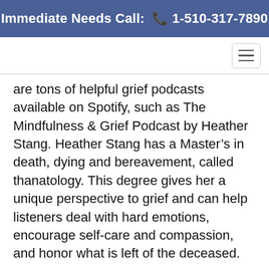Immediate Needs Call: 📞 1-510-317-7890
are tons of helpful grief podcasts available on Spotify, such as The Mindfulness & Grief Podcast by Heather Stang. Heather Stang has a Master's in death, dying and bereavement, called thanatology. This degree gives her a unique perspective to grief and can help listeners deal with hard emotions, encourage self-care and compassion, and honor what is left of the deceased.
There's also Good Grief by Blake Kasemeier. Blake lost her mother to lung cancer and then started Good Grief to help other people through their own losses and mourning journeys. What's Your Grief is by Eleanor Haley and Litsa Williams. Hosted by two mental health